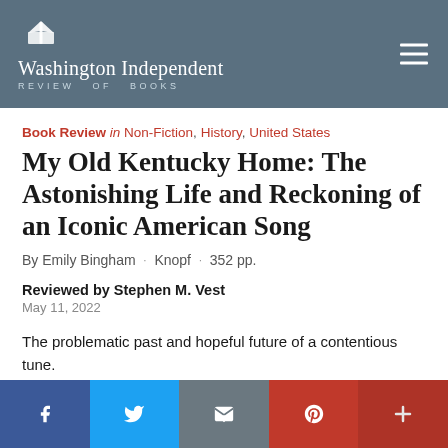Washington Independent REVIEW OF BOOKS
Book Review in Non-Fiction, History, United States
My Old Kentucky Home: The Astonishing Life and Reckoning of an Iconic American Song
By Emily Bingham · Knopf · 352 pp.
Reviewed by Stephen M. Vest
May 11, 2022
The problematic past and hopeful future of a contentious tune.
Facebook · Twitter · Email · Pinterest · More